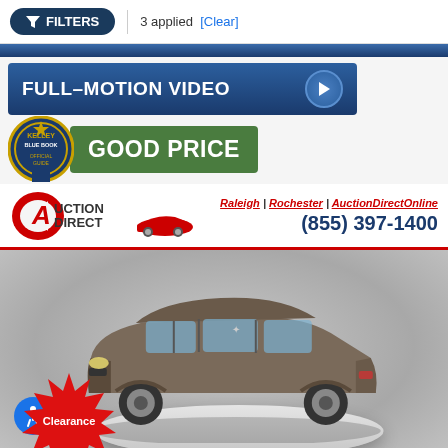FILTERS | 3 applied [Clear]
[Figure (screenshot): Full-motion video banner with dark blue background and play button]
[Figure (logo): Kelley Blue Book badge with 'GOOD PRICE' green banner]
[Figure (logo): Auction Direct logo with red car silhouette]
Raleigh | Rochester | AuctionDirectOnline
(855) 397-1400
[Figure (photo): Gray Chrysler Pacifica minivan on a turntable display, three-quarter front view, with red Clearance starburst badge and accessibility icon overlay]